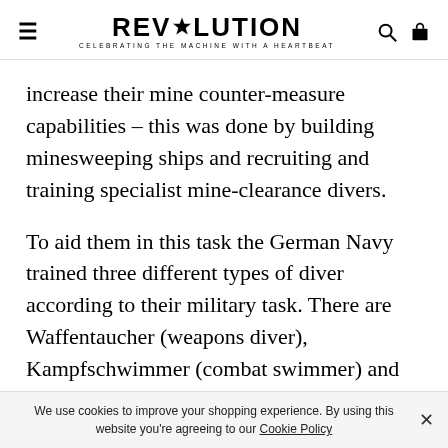REVOLUTION — CELEBRATING THE MACHINE WITH A HEARTBEAT
increase their mine counter-measure capabilities – this was done by building minesweeping ships and recruiting and training specialist mine-clearance divers.
To aid them in this task the German Navy trained three different types of diver according to their military task. There are Waffentaucher (weapons diver), Kampfschwimmer (combat swimmer) and
We use cookies to improve your shopping experience. By using this website you're agreeing to our Cookie Policy